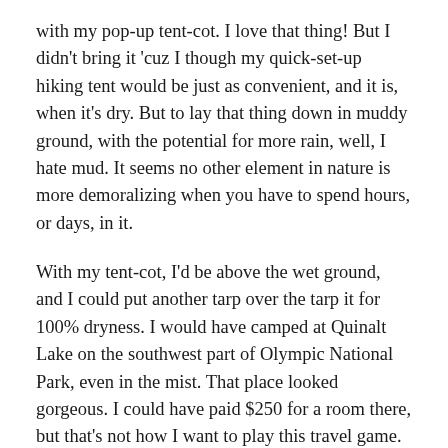with my pop-up tent-cot. I love that thing! But I didn't bring it 'cuz I though my quick-set-up hiking tent would be just as convenient, and it is, when it's dry. But to lay that thing down in muddy ground, with the potential for more rain, well, I hate mud. It seems no other element in nature is more demoralizing when you have to spend hours, or days, in it.
With my tent-cot, I'd be above the wet ground, and I could put another tarp over the tarp it for 100% dryness. I would have camped at Quinalt Lake on the southwest part of Olympic National Park, even in the mist. That place looked gorgeous. I could have paid $250 for a room there, but that's not how I want to play this travel game. I want to make budget.